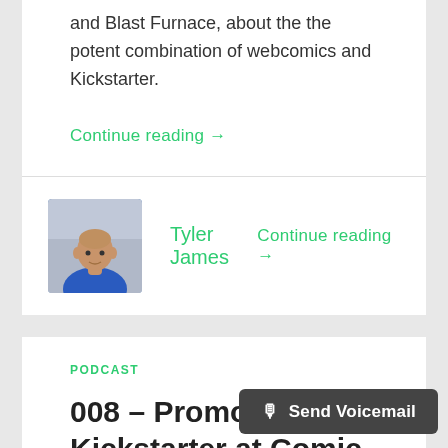and Blast Furnace, about the the potent combination of webcomics and Kickstarter.
Continue reading →
[Figure (photo): Headshot of Tyler James, a bald man in a blue shirt]
Tyler James
Continue reading →
PODCAST
008 – Promoting Your Kickstarter at Comic Convention
September 6, 2015
🎙 Send Voicemail